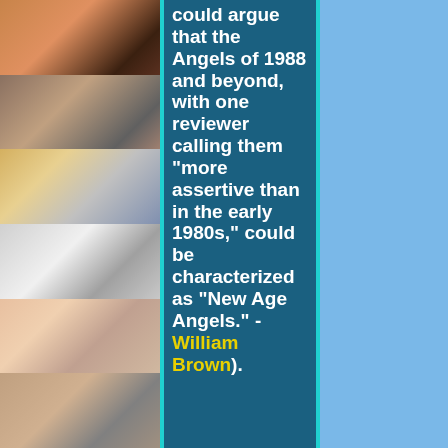[Figure (photo): Strip of six portrait photos of various people on the left side of the page]
could argue that the Angels of 1988 and beyond, with one reviewer calling them "more assertive than in the early 1980s," could be characterized as "New Age Angels." - William Brown).